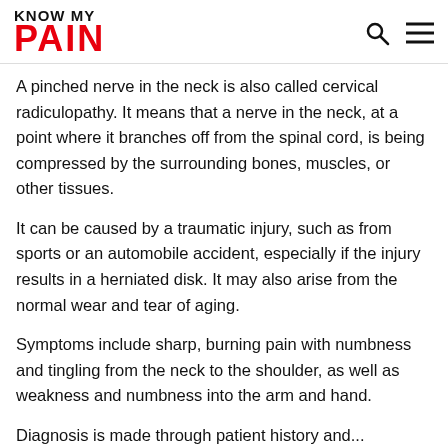KNOW MY PAIN
A pinched nerve in the neck is also called cervical radiculopathy. It means that a nerve in the neck, at a point where it branches off from the spinal cord, is being compressed by the surrounding bones, muscles, or other tissues.
It can be caused by a traumatic injury, such as from sports or an automobile accident, especially if the injury results in a herniated disk. It may also arise from the normal wear and tear of aging.
Symptoms include sharp, burning pain with numbness and tingling from the neck to the shoulder, as well as weakness and numbness into the arm and hand.
Diagnosis is made through patient history and...